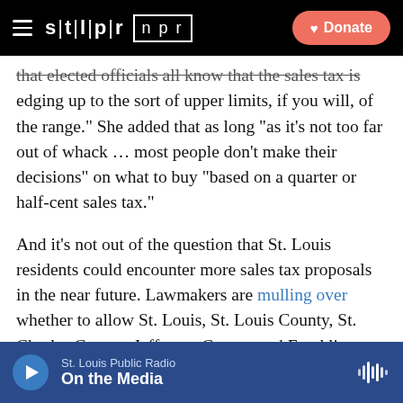stl|pr  npr  Donate
that elected officials all know that the sales tax is edging up to the sort of upper limits, if you will, of the range.” She added that as long “as it’s not too far out of whack … most people don’t make their decisions” on what to buy “based on a quarter or half-cent sales tax.”
And it’s not out of the question that St. Louis residents could encounter more sales tax proposals in the near future. Lawmakers are mulling over whether to allow St. Louis, St. Louis County, St. Charles County, Jefferson County and Franklin County to impose a sales tax increase to help the St. Louis Zoo. And Krewson indicated in February that some tax increases might be in the cards eventually to help the city police
St. Louis Public Radio  On the Media